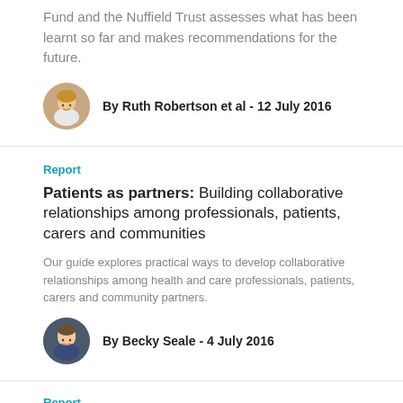Fund and the Nuffield Trust assesses what has been learnt so far and makes recommendations for the future.
By Ruth Robertson et al - 12 July 2016
Report
Patients as partners: Building collaborative relationships among professionals, patients, carers and communities
Our guide explores practical ways to develop collaborative relationships among health and care professionals, patients, carers and community partners.
By Becky Seale - 4 July 2016
Report